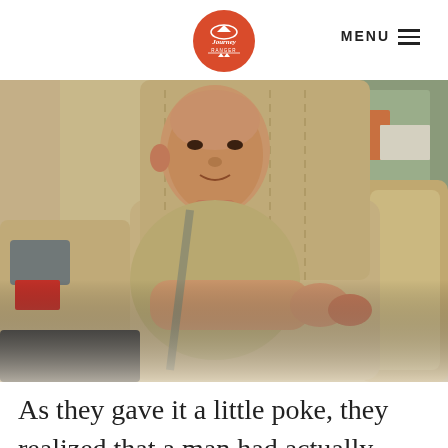Journey Ranger — MENU
[Figure (photo): A man sitting in the back seat of a vehicle with beige/tan leather seats. He appears to be wrapped or squeezed tightly between the car seats. There are items on the seat beside him and a window with a parking lot visible in the background.]
As they gave it a little poke, they realized that a man had actually been